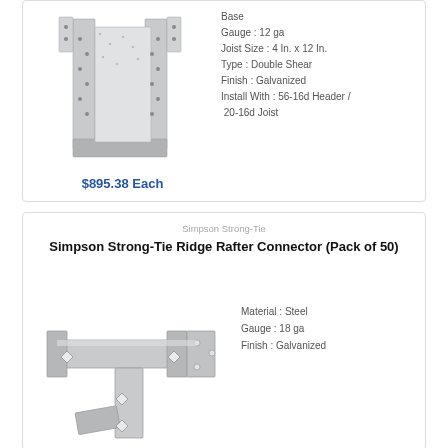[Figure (photo): Galvanized steel joist hanger connector, U-shaped metal bracket with multiple nail holes]
Base
Gauge : 12 ga
Joist Size : 4 In. x 12 In.
Type : Double Shear
Finish : Galvanized
Install With : 56-16d Header / 20-16d Joist
$895.38 Each
Simpson Strong-Tie
Simpson Strong-Tie Ridge Rafter Connector (Pack of 50)
[Figure (photo): Galvanized steel ridge rafter connector, L-shaped metal connector with flanged tabs and diamond-shaped holes]
Material : Steel
Gauge : 18 ga
Finish : Galvanized